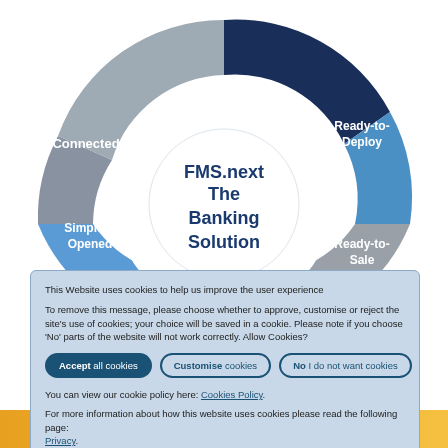[Figure (infographic): Circular donut/wheel diagram for FMS.next The Banking Solution with four segments labeled: Connected (gray, left), Ready-to-Deploy (blue, top-right), Ready-to-Sale (gray, bottom-right), Simple & Opened (blue, bottom-left). Center text: FMS.next The Banking Solution.]
This Website uses cookies to help us improve the user experience
To remove this message, please choose whether to approve, customise or reject the site's use of cookies; your choice will be saved in a cookie. Please note if you choose 'No' parts of the website will not work correctly. Allow Cookies?
Accept all cookies | Customise cookies | No I do not want cookies
You can view our cookie policy here: Cookies Policy.
For more information about how this website uses cookies please read the following page: Privacy.
Call-Back